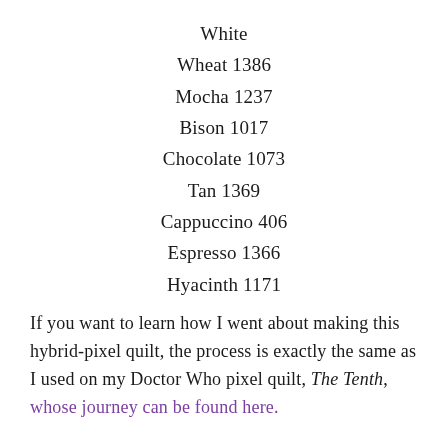White
Wheat 1386
Mocha 1237
Bison 1017
Chocolate 1073
Tan 1369
Cappuccino 406
Espresso 1366
Hyacinth 1171
If you want to learn how I went about making this hybrid-pixel quilt, the process is exactly the same as I used on my Doctor Who pixel quilt, The Tenth, whose journey can be found here.